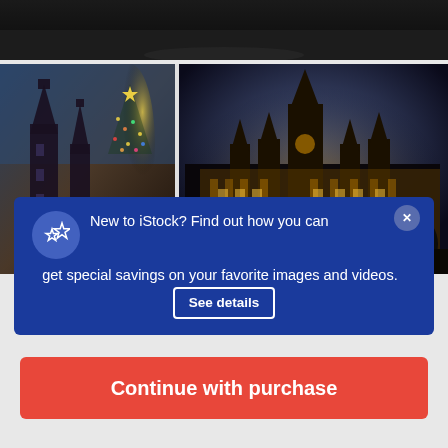[Figure (photo): Dark nighttime street scene, top portion cropped]
[Figure (photo): Two side-by-side photos of European city buildings at night with Christmas decorations. Left: Gothic church towers with illuminated Christmas tree. Right: Ornate illuminated city hall building at night.]
New to iStock? Find out how you can get special savings on your favorite images and videos.
$33 | 3 credits
Continue with purchase